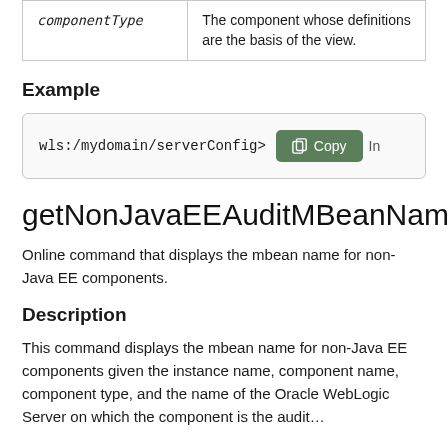| componentType | The component whose definitions are the basis of the view. |
Example
wls:/mydomain/serverConfig>  [Copy]  In
getNonJavaEEAuditMBeanName
Online command that displays the mbean name for non-Java EE components.
Description
This command displays the mbean name for non-Java EE components given the instance name, component name, component type, and the name of the Oracle WebLogic Server on which the component is the audit...